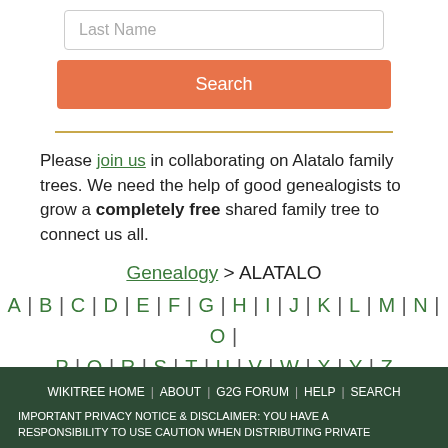[Figure (screenshot): Last Name search input field with placeholder text 'Last Name']
[Figure (screenshot): Orange Search button]
Please join us in collaborating on Alatalo family trees. We need the help of good genealogists to grow a completely free shared family tree to connect us all.
Genealogy > ALATALO
A | B | C | D | E | F | G | H | I | J | K | L | M | N | O | P | Q | R | S | T | U | V | W | X | Y | Z
WIKITREE HOME | ABOUT | G2G FORUM | HELP | SEARCH
IMPORTANT PRIVACY NOTICE & DISCLAIMER: YOU HAVE A RESPONSIBILITY TO USE CAUTION WHEN DISTRIBUTING PRIVATE